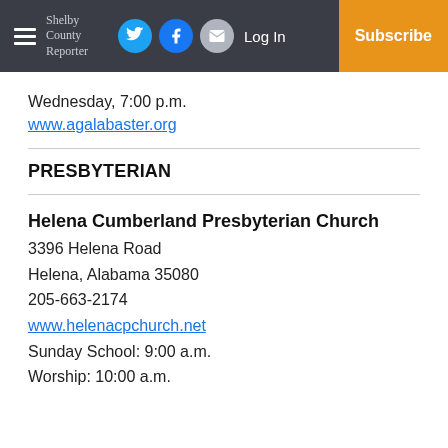Shelby County Reporter | Log In | Subscribe
Wednesday, 7:00 p.m.
www.agalabaster.org
PRESBYTERIAN
Helena Cumberland Presbyterian Church
3396 Helena Road
Helena, Alabama 35080
205-663-2174
www.helenacpchurch.net
Sunday School: 9:00 a.m.
Worship: 10:00 a.m.